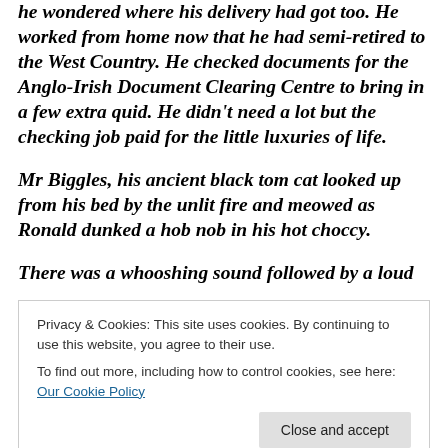he wondered where his delivery had got too. He worked from home now that he had semi-retired to the West Country. He checked documents for the Anglo-Irish Document Clearing Centre to bring in a few extra quid. He didn't need a lot but the checking job paid for the little luxuries of life.
Mr Biggles, his ancient black tom cat looked up from his bed by the unlit fire and meowed as Ronald dunked a hob nob in his hot choccy.
There was a whooshing sound followed by a loud
Privacy & Cookies: This site uses cookies. By continuing to use this website, you agree to their use.
To find out more, including how to control cookies, see here: Our Cookie Policy
the soggy hob nob fell into his mug mid dunk